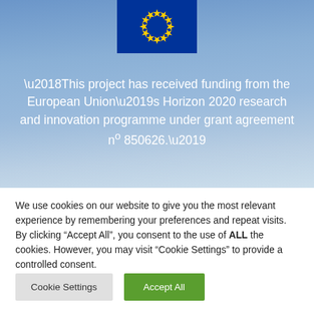[Figure (logo): European Union flag — dark blue rectangle with a circle of 12 gold stars]
‘This project has received funding from the European Union’s Horizon 2020 research and innovation programme under grant agreement nº 850626.’
We use cookies on our website to give you the most relevant experience by remembering your preferences and repeat visits. By clicking “Accept All”, you consent to the use of ALL the cookies. However, you may visit “Cookie Settings” to provide a controlled consent.
Cookie Settings
Accept All